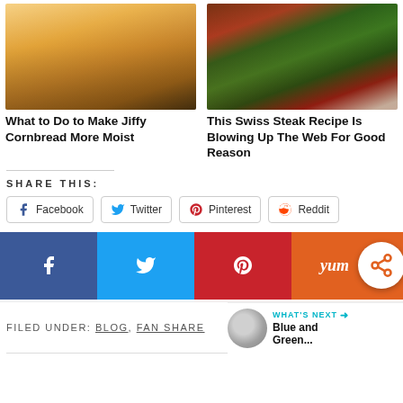[Figure (photo): Photo of cornbread with honey drizzle]
[Figure (photo): Photo of Swiss steak topped with herbs]
What to Do to Make Jiffy Cornbread More Moist
This Swiss Steak Recipe Is Blowing Up The Web For Good Reason
SHARE THIS:
Facebook
Twitter
Pinterest
Reddit
[Figure (infographic): Large social share buttons: Facebook, Twitter, Pinterest, Yum with share icon]
FILED UNDER: BLOG, FAN SHARE
WHAT'S NEXT → Blue and Green...